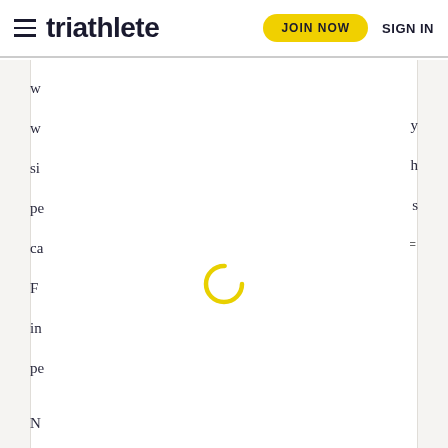triathlete — JOIN NOW  SIGN IN
w...  w... y  si... h  pe... s  ca...  F...  in...  pe...  N... =  Ta...  sh...  w...  a...
[Figure (other): Yellow circular loading spinner animation in center of page]